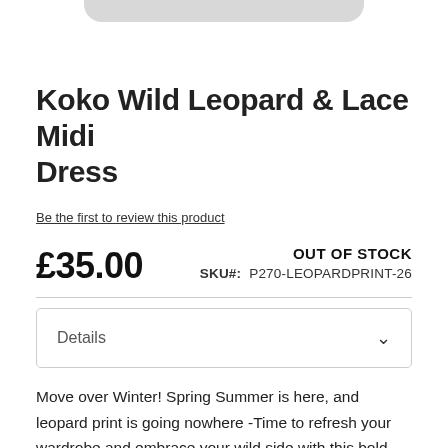[Figure (other): Partial grey rounded-bottom bar at top, cropped product image area]
Koko Wild Leopard & Lace Midi Dress
Be the first to review this product
£35.00
OUT OF STOCK
SKU#:  P270-LEOPARDPRINT-26
Details
Move over Winter! Spring Summer is here, and leopard print is going nowhere -Time to refresh your wardrobe and embrace your wild side with this bold and beautiful style. A vibrant yellow leopard print pattern covers this chuck on midi dress design, its